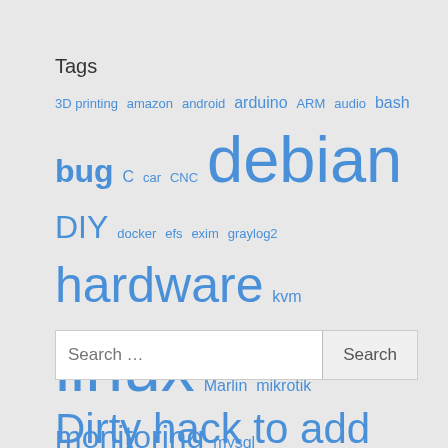Tags
3D printing amazon android arduino ARM audio bash bug C car CNC debian DIY docker efs exim graylog2 hardware kvm linux Marlin mikrotik monitoring mysql networking nfs nginx perl php PSU puppet redmine repair routing security SELinux stm32 syslog terraform TP5100 ubuntu vpn wordpress zabbix
Search …
Dirty hack to add